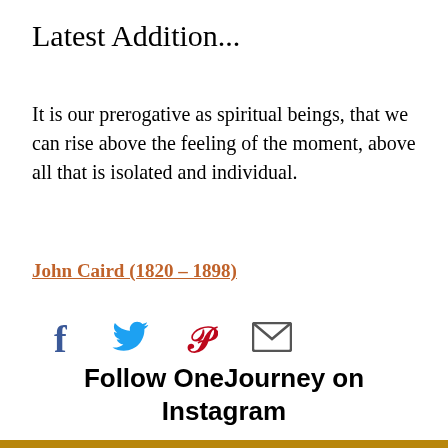Latest Addition...
It is our prerogative as spiritual beings, that we can rise above the feeling of the moment, above all that is isolated and individual.
John Caird (1820 – 1898)
[Figure (infographic): Social sharing icons: Facebook (f), Twitter (bird), Pinterest (P), Email (envelope)]
Follow OneJourney on Instagram